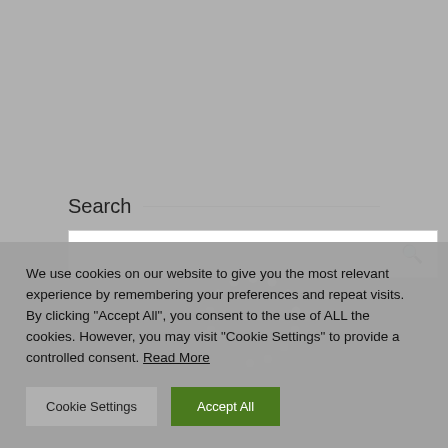Search
[Figure (screenshot): Search input box with a loading spinner (dotted circle) overlay and a magnifying glass icon on the right]
We use cookies on our website to give you the most relevant experience by remembering your preferences and repeat visits. By clicking “Accept All”, you consent to the use of ALL the cookies. However, you may visit "Cookie Settings" to provide a controlled consent. Read More
Cookie Settings
Accept All